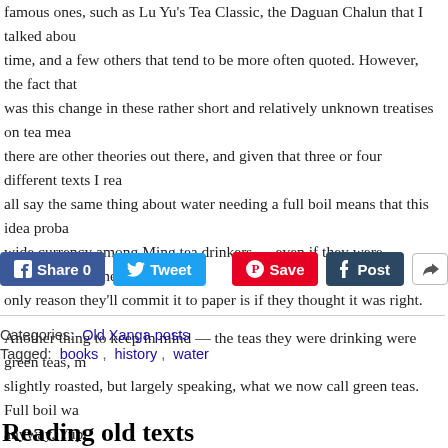famous ones, such as Lu Yu's Tea Classic, the Daguan Chalun that I talked about time, and a few others that tend to be more often quoted. However, the fact that was this change in these rather short and relatively unknown treatises on tea mea there are other theories out there, and given that three or four different texts I rea all say the same thing about water needing a full boil means that this idea proba wide currency among Ming tea drinkers — even if they were copying each othe only reason they'll commit it to paper is if they thought it was right.
Another thing to keep in mind — the teas they were drinking were green teas, m slightly roasted, but largely speaking, what we now call green teas. Full boil wa anyway. Yup.
[Figure (screenshot): Social sharing buttons: Facebook Share 0, Tweet, Pinterest Save, Tumblr Post, and a generic share icon button]
Categories:  Old Xanga posts
Tagged:  books ,  history ,  water
Reading old texts